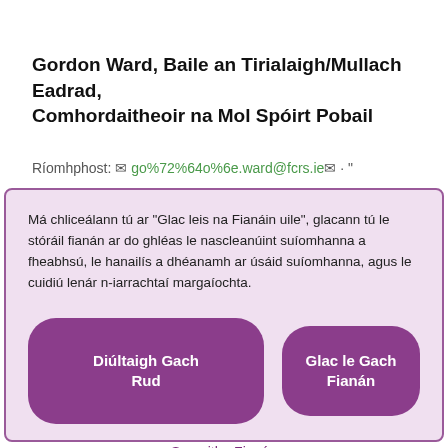Gordon Ward, Baile an Tirialaigh/Mullach Eadrad, Comhordaitheoir na Mol Spóirt Pobail
Ríomhphost: go%72%64o%6e.ward@fcrs.ie "
Má chliceálann tú ar "Glac leis na Fianáin uile", glacann tú le stóráil fianán ar do ghléas le nascleanúint suíomhanna a fheabhsú, le hanailís a dhéanamh ar úsáid suíomhanna, agus le cuidiú lenár n-iarrachtaí margaíochta.
Diúltaigh Gach Rud
Glac le Gach Fianán
Socruithe Fianán